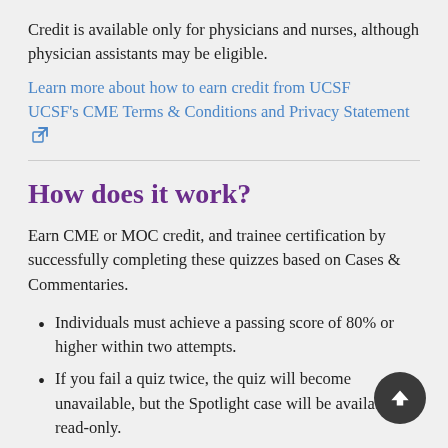Credit is available only for physicians and nurses, although physician assistants may be eligible.
Learn more about how to earn credit from UCSF
UCSF's CME Terms & Conditions and Privacy Statement [external link]
How does it work?
Earn CME or MOC credit, and trainee certification by successfully completing these quizzes based on Cases & Commentaries.
Individuals must achieve a passing score of 80% or higher within two attempts.
If you fail a quiz twice, the quiz will become unavailable, but the Spotlight case will be available as read-only.